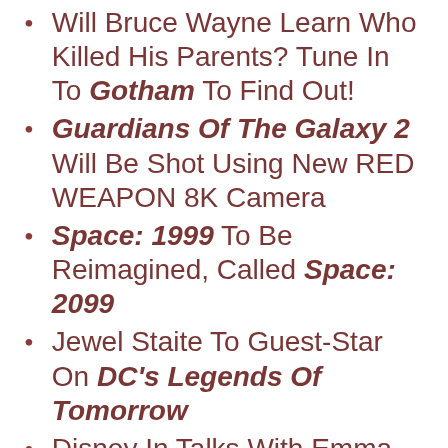Will Bruce Wayne Learn Who Killed His Parents? Tune In To Gotham To Find Out!
Guardians Of The Galaxy 2 Will Be Shot Using New RED WEAPON 8K Camera
Space: 1999 To Be Reimagined, Called Space: 2099
Jewel Staite To Guest-Star On DC's Legends Of Tomorrow
Disney In Talks With Emma Stone To Play Cruella de Vil
New Season 2 Trailer For Marvel's Daredevil On Netflix Is Here!
SyFy's The Expanse To Receive A Second Season
TG Geeks Webcast Episode 54